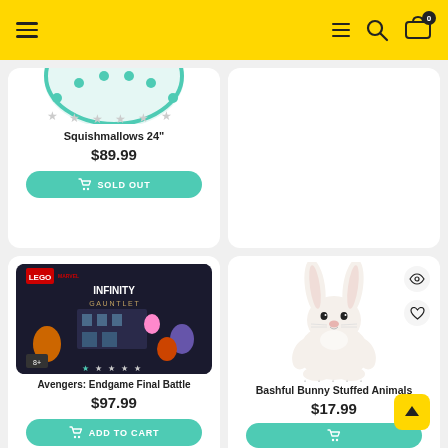Navigation bar with hamburger menu, search, and cart icons
[Figure (photo): Partial product image of Squishmallows 24 inch plush]
Squishmallows 24"
$89.99
SOLD OUT
[Figure (photo): LEGO Avengers: Endgame Final Battle set box image]
Avengers: Endgame Final Battle
$97.99
ADD TO CART
[Figure (photo): White Bashful Bunny stuffed animal plush toy]
Bashful Bunny Stuffed Animals
$17.99